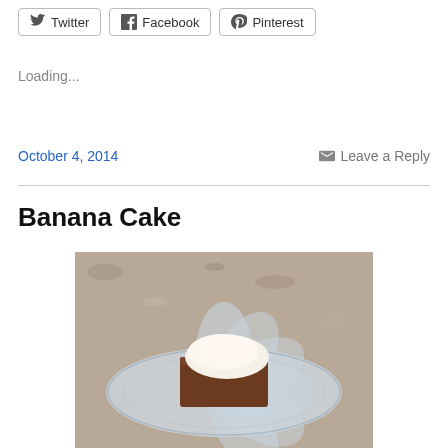Twitter  Facebook  Pinterest
Loading...
October 4, 2014
Leave a Reply
Banana Cake
[Figure (photo): A slice of banana cake with white cream/frosting on top, served on a decorative glass plate on a granite countertop.]